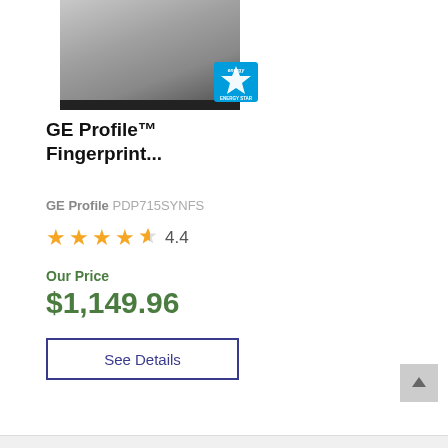[Figure (photo): GE Profile dishwasher in stainless steel finish with Energy Star badge in bottom-right corner of image]
GE Profile™ Fingerprint...
GE Profile PDP715SYNFS
4.4 stars (star rating)
Our Price
$1,149.96
See Details